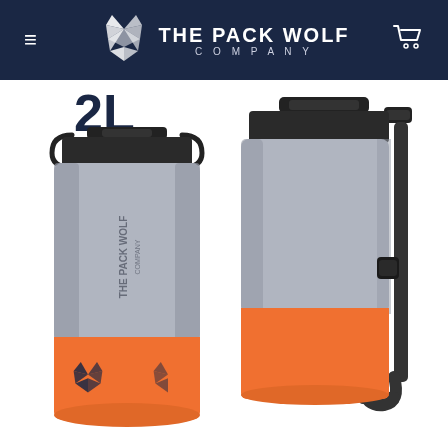THE PACK WOLF COMPANY - Navigation header with hamburger menu and cart icon
[Figure (photo): Two gray and orange dry bags from The Pack Wolf Company. Left bag shows the front face with '2L' size label above it and 'THE PACK WOLF COMPANY' text on the bag body. Right bag shows a side/back view with a black shoulder strap attached. Both bags are gray on top with an orange bottom section featuring the wolf logo.]